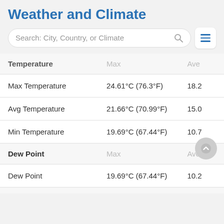Weather and Climate
| Temperature | Max | Ave |
| --- | --- | --- |
| Max Temperature | 24.61°C (76.3°F) | 18.2 |
| Avg Temperature | 21.66°C (70.99°F) | 15.0 |
| Min Temperature | 19.69°C (67.44°F) | 10.7 |
| Dew Point | Max | Ave |
| Dew Point | 19.69°C (67.44°F) | 10.2 |
| Precipitation | Max |  |
| Precipitation | 16.05mm | 0.63in | 1.17 |